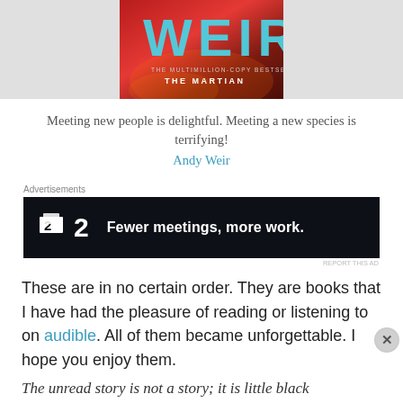[Figure (photo): Book cover for Andy Weir novel, showing large letters 'WEIR' in blue at top, subtitle 'THE MULTIMILLION-COPY BESTSELLING AUTHOR OF THE MARTIAN' on a red/fiery background.]
Meeting new people is delightful. Meeting a new species is terrifying!
Andy Weir
Advertisements
[Figure (screenshot): Advertisement banner: dark background with logo showing a small white box and '2', and text 'Fewer meetings, more work.']
REPORT THIS AD
These are in no certain order. They are books that I have had the pleasure of reading or listening to on audible. All of them became unforgettable. I hope you enjoy them.
The unread story is not a story; it is little black
Advertisements
[Figure (screenshot): Advertisement banner: dark blue background with 'P' logo box, text 'WORDPRESS HOSTING THAT MEANS BUSINESS.' and an OPEN sign photo on the right.]
REPORT THIS AD